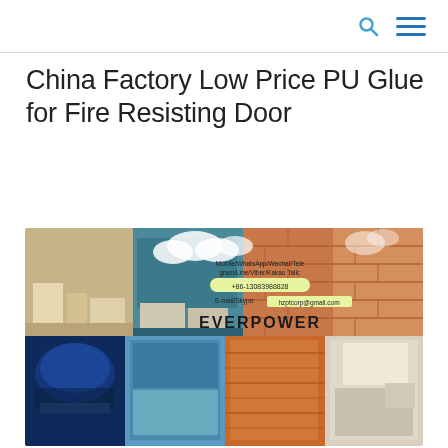[search icon] [menu icon]
China Factory Low Price PU Glue for Fire Resisting Door
[Figure (photo): Product promotional banner image for EVERPOWER showing various interior design applications of PU glue/adhesive materials. Top half shows room interiors with tan, teal wall panels and brick/wood materials. Center overlay shows contact info: Mobile/WhatsApp/Wechat/Telegram/Line/Viber/Kakao Talk: +86-13083988828, E-mail/Skype: hzptcorp@gmail.com, EVERPOWER branding. Bottom half shows blue fantasy room, sky blue panel, orange wood grain, and white room interior images.]